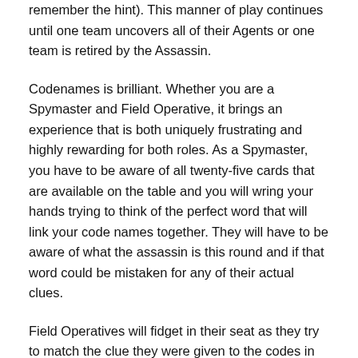remember the hint). This manner of play continues until one team uncovers all of their Agents or one team is retired by the Assassin.
Codenames is brilliant. Whether you are a Spymaster and Field Operative, it brings an experience that is both uniquely frustrating and highly rewarding for both roles. As a Spymaster, you have to be aware of all twenty-five cards that are available on the table and you will wring your hands trying to think of the perfect word that will link your code names together. They will have to be aware of what the assassin is this round and if that word could be mistaken for any of their actual clues.
Field Operatives will fidget in their seat as they try to match the clue they were given to the codes in front of them. Depending on the relationship between the players, maybe something they used has a deeper meaning and